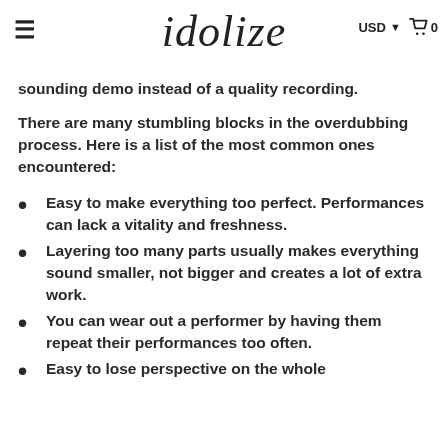≡   idolize   USD ▾ 🛒 0
sounding demo instead of a quality recording.
There are many stumbling blocks in the overdubbing process. Here is a list of the most common ones encountered:
Easy to make everything too perfect. Performances can lack a vitality and freshness.
Layering too many parts usually makes everything sound smaller, not bigger and creates a lot of extra work.
You can wear out a performer by having them repeat their performances too often.
Easy to lose perspective on the whole